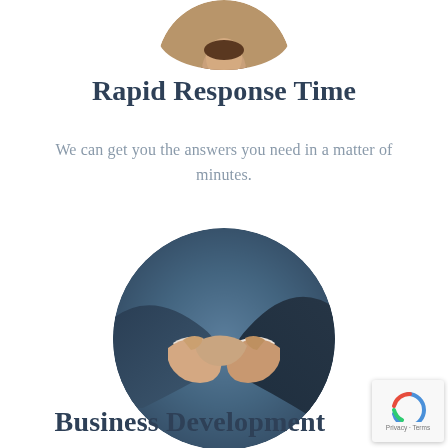[Figure (photo): Circular cropped photo of a person (partially visible at top of page, showing bottom half of circular crop)]
Rapid Response Time
We can get you the answers you need in a matter of minutes.
[Figure (photo): Circular cropped photo of two people shaking hands in business attire, with a blue-toned background]
Business Development